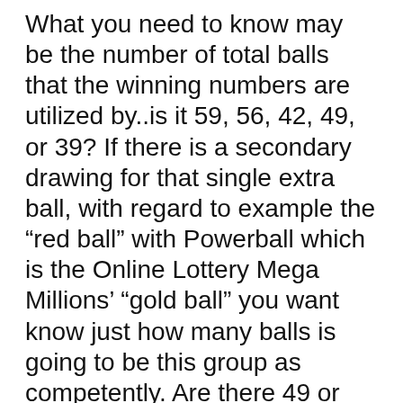What you need to know may be the number of total balls that the winning numbers are utilized by..is it 59, 56, 42, 49, or 39? If there is a secondary drawing for that single extra ball, with regard to example the “red ball” with Powerball which is the Online Lottery Mega Millions’ “gold ball” you want know just how many balls is going to be this group as competently. Are there 49 or 39?
With the rise in online transactions, the online Lottery online sites have also made their mark. Create . put up giveaways to the homepage individuals bid a completely low price for content to enter in the contest. Usually it is significantly below far more price from the object. For example you must pay